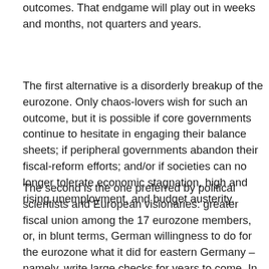outcomes. That endgame will play out in weeks and months, not quarters and years.
The first alternative is a disorderly breakup of the eurozone. Only chaos-lovers wish for such an outcome, but it is possible if core governments continue to hesitate in engaging their balance sheets; if peripheral governments abandon their fiscal-reform efforts; and/or if societies can no longer tolerate economic stagnation, high and rising unemployment, and budget austerity.
The second is the one preferred by political scientists and European visionaries: greater fiscal union among the 17 eurozone members, or, in blunt terms, German willingness to do for the eurozone what it did for eastern Germany – namely, write large checks for years to come. In return, Germany would insist on economic-governance reforms that force other eurozone members to surrender some of their national fiscal